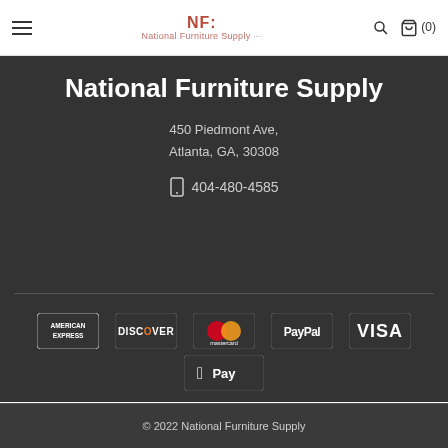National Furniture Supply — navigation header with hamburger menu, logo, search and cart icons
National Furniture Supply
450 Piedmont Ave,
Atlanta, GA, 30308
404-480-4585
[Figure (logo): Payment method logos: American Express, Discover, Mastercard, PayPal, VISA, Apple Pay]
© 2022 National Furniture Supply